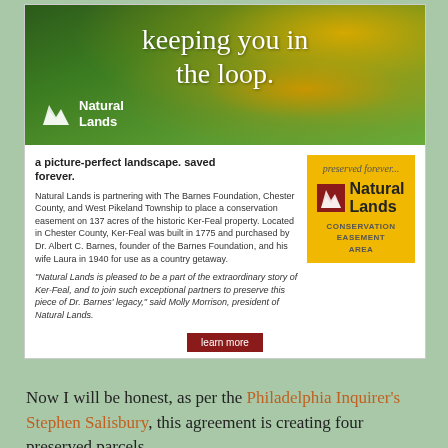[Figure (infographic): Natural Lands advertisement banner with green floral/leaf background and yellow flowers, white text reading 'keeping you in the loop.' and Natural Lands logo in white at bottom left]
a picture-perfect landscape. saved forever.
Natural Lands is partnering with The Barnes Foundation, Chester County, and West Pikeland Township to place a conservation easement on 137 acres of the historic Ker-Feal property. Located in Chester County, Ker-Feal was built in 1775 and purchased by Dr. Albert C. Barnes, founder of the Barnes Foundation, and his wife Laura in 1940 for use as a country getaway.
"Natural Lands is pleased to be a part of the extraordinary story of Ker-Feal, and to join such exceptional partners to preserve this piece of Dr. Barnes' legacy," said Molly Morrison, president of Natural Lands.
[Figure (logo): Natural Lands Conservation Easement Area logo on yellow background, with 'preserved forever...' text above]
learn more
Now I will be honest, as per the Philadelphia Inquirer's Stephen Salisbury, this agreement is creating four preserved parcels.
[Figure (photo): Partial view of a map or document image at the bottom of the page]